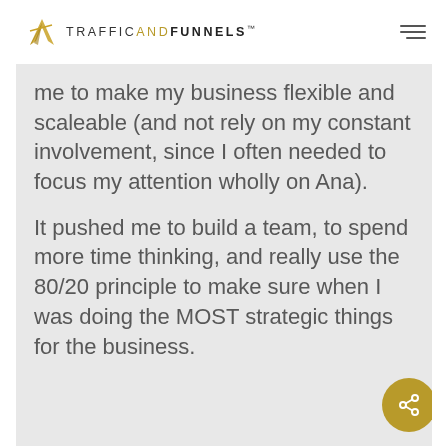TRAFFIC AND FUNNELS™
me to make my business flexible and scaleable (and not rely on my constant involvement, since I often needed to focus my attention wholly on Ana).
It pushed me to build a team, to spend more time thinking, and really use the 80/20 principle to make sure when I was doing the MOST strategic things for the business.